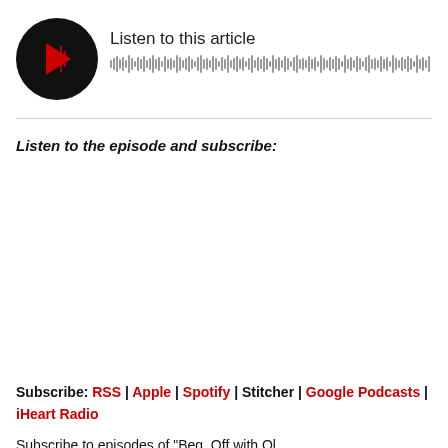[Figure (other): Audio player widget with black circular play button showing red play icon and audio waveform visualization, labeled 'Listen to this article']
Listen to the episode and subscribe:
Subscribe: RSS | Apple | Spotify | Stitcher | Google Podcasts | iHeart Radio
Subscribe to episodes of "Beg, Off with Ol...